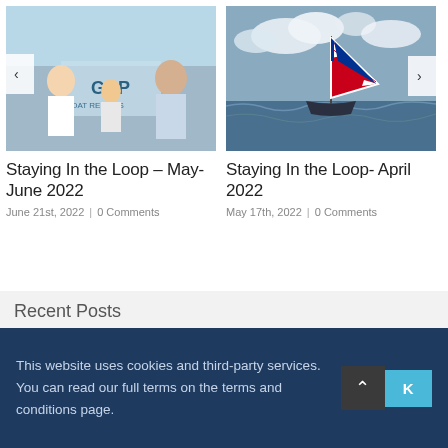[Figure (photo): Photo of two people and a child with GRP Boat Repairs branding, with left navigation arrow overlay]
[Figure (photo): Photo of a sailboat with Union Jack sail on choppy water, with right navigation arrow overlay]
Staying In the Loop – May-June 2022
June 21st, 2022  |  0 Comments
Staying In the Loop- April 2022
May 17th, 2022  |  0 Comments
Recent Posts
This website uses cookies and third-party services. You can read our full terms on the terms and conditions page.